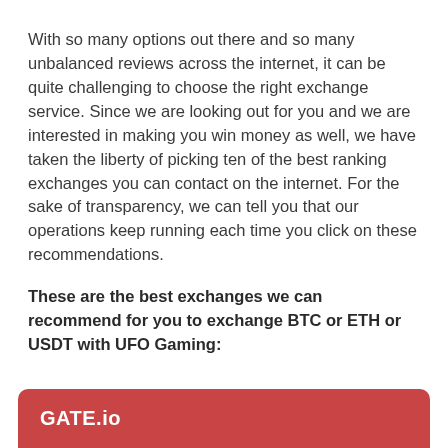With so many options out there and so many unbalanced reviews across the internet, it can be quite challenging to choose the right exchange service. Since we are looking out for you and we are interested in making you win money as well, we have taken the liberty of picking ten of the best ranking exchanges you can contact on the internet. For the sake of transparency, we can tell you that our operations keep running each time you click on these recommendations.
These are the best exchanges we can recommend for you to exchange BTC or ETH or USDT with UFO Gaming:
GATE.io